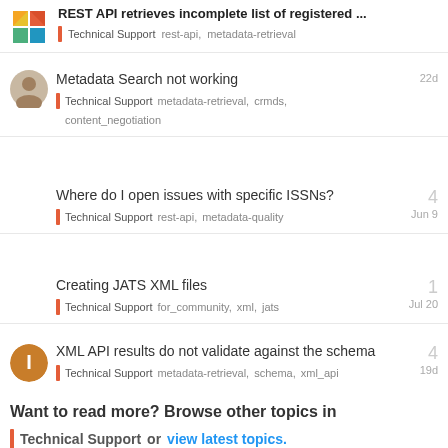REST API retrieves incomplete list of registered ...
Technical Support  rest-api,  metadata-retrieval
Metadata Search not working
Technical Support  metadata-retrieval, crmds, content_negotiation  22d
Where do I open issues with specific ISSNs?
Technical Support  rest-api, metadata-quality  Jun 9  4
Creating JATS XML files
Technical Support  for_community, xml, jats  Jul 20  1
XML API results do not validate against the schema
Technical Support  metadata-retrieval, schema, xml_api  19d  4
Want to read more? Browse other topics in Technical Support or view latest topics.